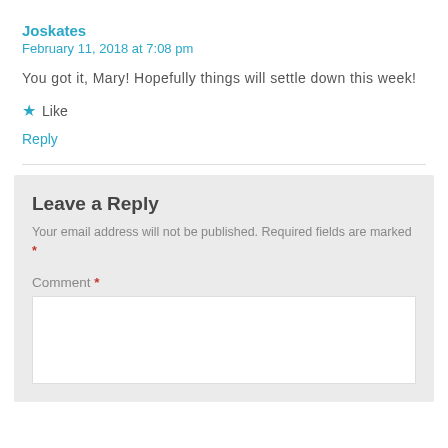Joskates
February 11, 2018 at 7:08 pm
You got it, Mary! Hopefully things will settle down this week!
★ Like
Reply
Leave a Reply
Your email address will not be published. Required fields are marked *
Comment *